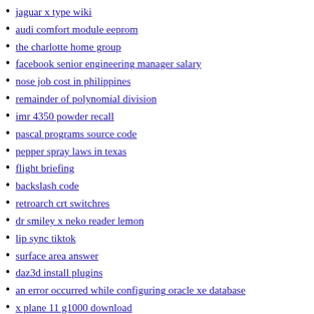jaguar x type wiki
audi comfort module eeprom
the charlotte home group
facebook senior engineering manager salary
nose job cost in philippines
remainder of polynomial division
imr 4350 powder recall
pascal programs source code
pepper spray laws in texas
flight briefing
backslash code
retroarch crt switchres
dr smiley x neko reader lemon
lip sync tiktok
surface area answer
daz3d install plugins
an error occurred while configuring oracle xe database
x plane 11 g1000 download
twice content to watch
ford engine block date codes
bi amp active crossover
switchyomega pac
logging stroker
2000 fleetwood discovery 37v specs
vpx tables